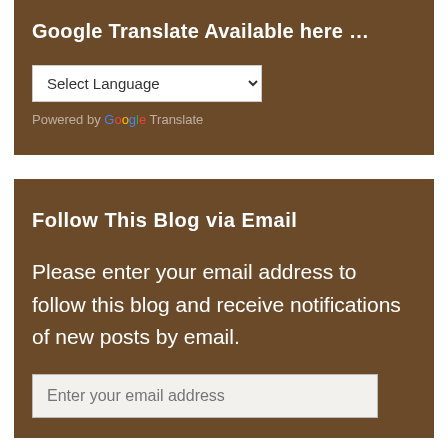Google Translate Available here …
[Figure (screenshot): Google Translate widget with a language select dropdown and 'Powered by Google Translate' text]
Follow This Blog via Email
Please enter your email address to follow this blog and receive notifications of new posts by email.
[Figure (screenshot): Email address input field with placeholder text 'Enter your email address']